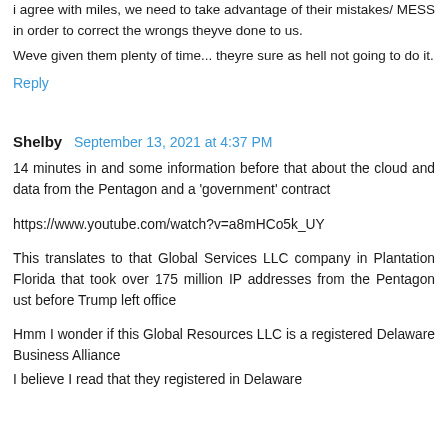i agree with miles, we need to take advantage of their mistakes/ MESS in order to correct the wrongs theyve done to us.
Weve given them plenty of time... theyre sure as hell not going to do it.
Reply
Shelby  September 13, 2021 at 4:37 PM
14 minutes in and some information before that about the cloud and data from the Pentagon and a 'government' contract
https://www.youtube.com/watch?v=a8mHCo5k_UY
This translates to that Global Services LLC company in Plantation Florida that took over 175 million IP addresses from the Pentagon ust before Trump left office
Hmm I wonder if this Global Resources LLC is a registered Delaware Business Alliance
I believe I read that they registered in Delaware